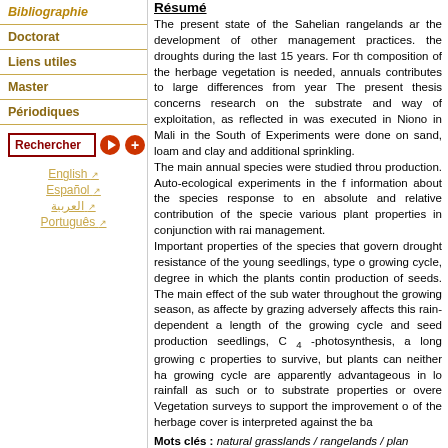Bibliographie
Doctorat
Liens utiles
Master
Périodiques
Rechercher
English | Español | العربية | Português
Résumé
The present state of the Sahelian rangelands and the development of other management practices. the droughts during the last 15 years. For the composition of the herbage vegetation is needed, annuals contributes to large differences from year. The present thesis concerns research on the substrate and way of exploitation, as reflected in was executed in Niono in Mali in the South of Experiments were done on sand, loam and clay and additional sprinkling. The main annual species were studied through production. Auto-ecological experiments in the information about the species response to environmental conditions absolute and relative contribution of the species various plant properties in conjunction with rainfall management. Important properties of the species that govern drought resistance of the young seedlings, type of growing cycle, degree in which the plants continue production of seeds. The main effect of the substrate water throughout the growing season, as affected by grazing adversely affects this rain-dependent length of the growing cycle and seed production. seedlings, C 4 -photosynthesis, a long growing cycle properties to survive, but plants can neither have growing cycle are apparently advantageous in low rainfall as such or to substrate properties or overereeding. Vegetation surveys to support the improvement of the herbage cover is interpreted against the background.
Mots clés : natural grasslands / rangelands / plan